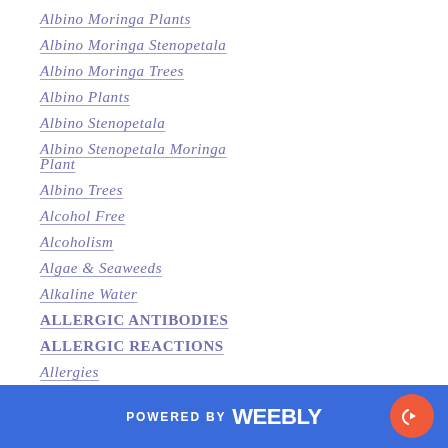Albino Moringa Plants
Albino Moringa Stenopetala
Albino Moringa Trees
Albino Plants
Albino Stenopetala
Albino Stenopetala Moringa Plant
Albino Trees
Alcohol Free
Alcoholism
Algae & Seaweeds
Alkaline Water
ALLERGIC ANTIBODIES
ALLERGIC REACTIONS
Allergies
Allergy
All Natural Hemp
POWERED BY weebly